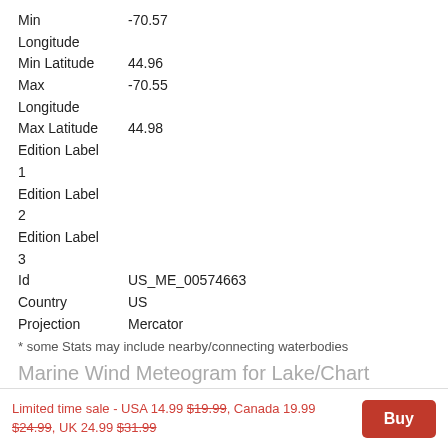Min Longitude  -70.57
Min Latitude  44.96
Max Longitude  -70.55
Max Latitude  44.98
Edition Label 1
Edition Label 2
Edition Label 3
Id  US_ME_00574663
Country  US
Projection  Mercator
* some Stats may include nearby/connecting waterbodies
Marine Wind Meteogram for Lake/Chart
For real time, interactive Marine Wind prediction, download App
| Date/Time | Speed * | Dir * |
| --- | --- | --- |